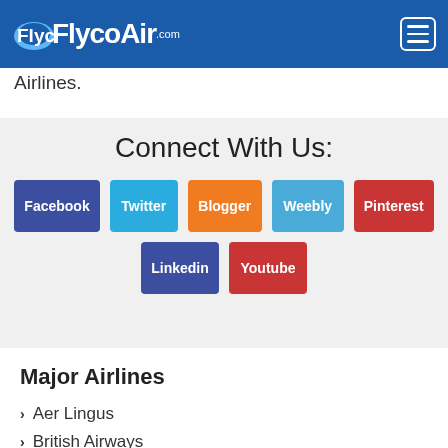FlycoAir.com [logo with menu button]
Airlines.
Connect With Us:
Facebook
Twitter
Blogger
Weebly
Pinterest
Linkedin
Youtube
Major Airlines
> Aer Lingus
> British Airways